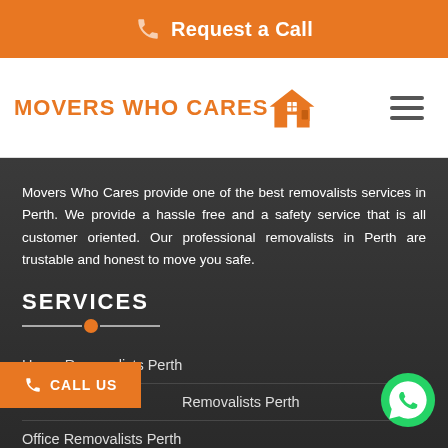Request a Call
[Figure (logo): Movers Who Cares logo with orange house icon and text]
Movers Who Cares provide one of the best removalists services in Perth. We provide a hassle free and a safety service that is all customer oriented. Our professional removalists in Perth are trustable and honest to move you safe.
SERVICES
Home Removalists Perth
Removalists Perth
Office Removalists Perth